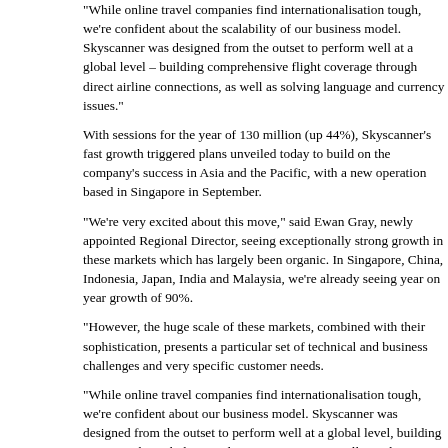“While online travel companies find internationalisation tough, we’re confident about the scalability of our business model. Skyscanner was designed from the outset to perform well at a global level – building comprehensive flight coverage through direct airline connections, as well as solving language and currency issues.”
With sessions for the year of 130 million (up 44%), Skyscanner’s fast growth triggered plans unveiled today to build on the company’s success in Asia and the Pacific, with a new operation based in Singapore in September.
“We’re very excited about this move,” said Ewan Gray, newly appointed Regional Director, seeing exceptionally strong growth in these markets which has largely been organic. In Singapore, China, Indonesia, Japan, India and Malaysia, we’re already seeing year on year growth of 90%.
“However, the huge scale of these markets, combined with their sophistication, presents a particular set of technical and business challenges and very specific customer needs.
“While online travel companies find internationalisation tough, we’re confident about our business model. Skyscanner was designed from the outset to perform well at a global level, building coverage through direct airline connections, as well as solving language and currency issues.
The fast pace of international expansion accounts for the majority of Skyscanner’s growth, fuelled by highly profitable core markets and a rapidly expanding network of direct deals with airlines, online travel agents and other travel companies throughout the world.
In his former role as Head of Sales at Skyscanner, Gray has played a large part in this and continued: “The relationships we have with airlines and OTAs are incredibly important. We’re sending them highly qualified referrals from customers confident they have found the best deal. We’re looking forward to providing this region with dedicated support to capitalise on Skyscanner’s position as one of the world’s leading travel search sites.”
In addition to Gray, other key appointments for the new Singapore operation have